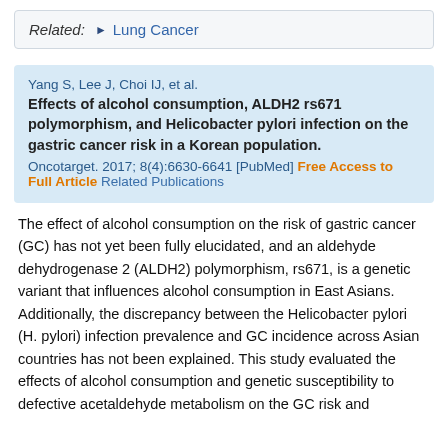Related: ► Lung Cancer
Yang S, Lee J, Choi IJ, et al.
Effects of alcohol consumption, ALDH2 rs671 polymorphism, and Helicobacter pylori infection on the gastric cancer risk in a Korean population.
Oncotarget. 2017; 8(4):6630-6641 [PubMed] Free Access to Full Article Related Publications
The effect of alcohol consumption on the risk of gastric cancer (GC) has not yet been fully elucidated, and an aldehyde dehydrogenase 2 (ALDH2) polymorphism, rs671, is a genetic variant that influences alcohol consumption in East Asians. Additionally, the discrepancy between the Helicobacter pylori (H. pylori) infection prevalence and GC incidence across Asian countries has not been explained. This study evaluated the effects of alcohol consumption and genetic susceptibility to defective acetaldehyde metabolism on the GC risk and